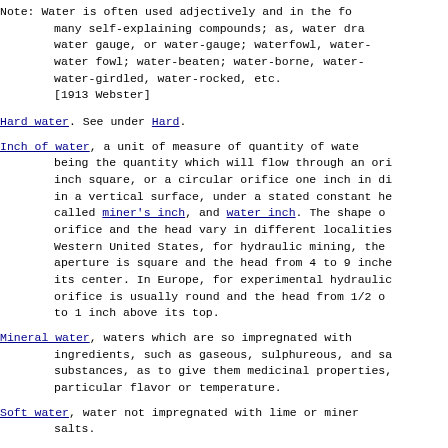Note: Water is often used adjectively and in the formation of many self-explaining compounds; as, water drag, water gauge, or water-gauge; waterfowl, water-fowl; water fowl; water-beaten; water-borne, water-girdled, water-rocked, etc. [1913 Webster]
Hard water. See under Hard.
Inch of water, a unit of measure of quantity of water, being the quantity which will flow through an orifice one inch square, or a circular orifice one inch in diameter, in a vertical surface, under a stated constant head; called miner's inch, and water inch. The shape of the orifice and the head vary in different localities. In the Western United States, for hydraulic mining, the aperture is square and the head from 4 to 9 inches above its center. In Europe, for experimental hydraulics, the orifice is usually round and the head from 1/2 of an inch to 1 inch above its top.
Mineral water, waters which are so impregnated with ingredients, such as gaseous, sulphureous, and saline substances, as to give them medicinal properties, or a particular flavor or temperature.
Soft water, water not impregnated with lime or mineral salts.
To hold water. See under Hold, v. t.